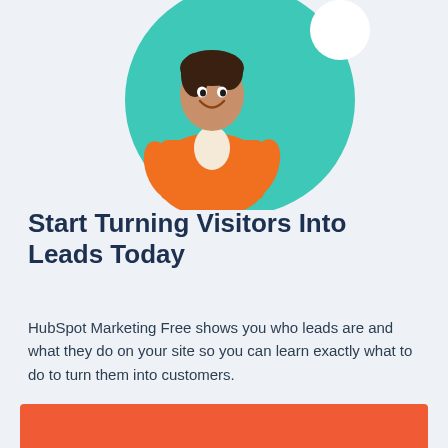[Figure (illustration): Illustration of a smiling woman in an orange jacket leaning forward, on a teal circular background with a white circle accent, centered at the top of the page.]
Start Turning Visitors Into Leads Today
HubSpot Marketing Free shows you who leads are and what they do on your site so you can learn exactly what to do to turn them into customers.

Sign up for free by clicking the button below.